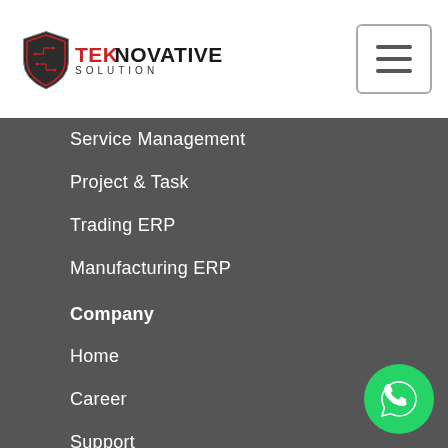[Figure (logo): Teknovative Solution logo with shield icon and red/dark text]
Service Management
Project & Task
Trading ERP
Manufacturing ERP
Company
Home
Career
Support
About Us
Clients